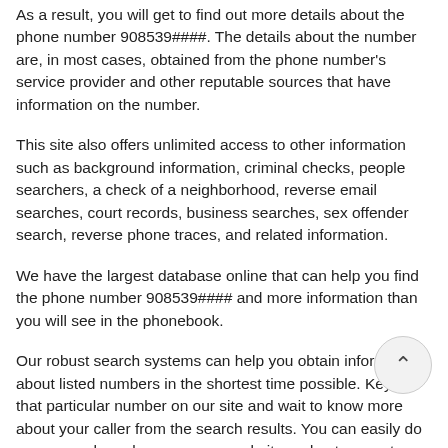As a result, you will get to find out more details about the phone number 908539####. The details about the number are, in most cases, obtained from the phone number's service provider and other reputable sources that have information on the number.
This site also offers unlimited access to other information such as background information, criminal checks, people searchers, a check of a neighborhood, reverse email searches, court records, business searches, sex offender search, reverse phone traces, and related information.
We have the largest database online that can help you find the phone number 908539#### and more information than you will see in the phonebook.
Our robust search systems can help you obtain information about listed numbers in the shortest time possible. Key in that particular number on our site and wait to know more about your caller from the search results. You can easily do a reverse phone lookup on our website and get accurate details of your caller.